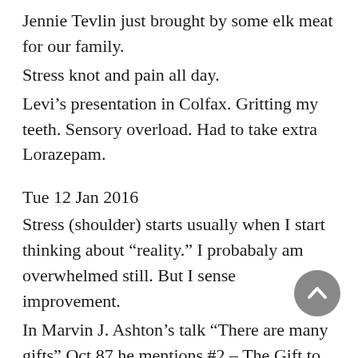Jennie Tevlin just brought by some elk meat for our family.
Stress knot and pain all day.
Levi’s presentation in Colfax. Gritting my teeth. Sensory overload. Had to take extra Lorazepam.
Tue 12 Jan 2016
Stress (shoulder) starts usually when I start thinking about “reality.” I probabaly am overwhelmed still. But I sense improvement.
In Marvin J. Ashton’s talk “There are many gifts” Oct 87 he mentions #2 – The Gift to Look TO God for direction.”
I felt the Holy Ghost when I read that section. It is an avenue of strength, comfort and guidance.